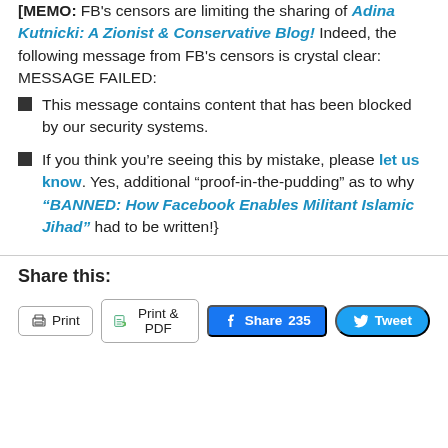[MEMO: FB's censors are limiting the sharing of Adina Kutnicki: A Zionist & Conservative Blog! Indeed, the following message from FB's censors is crystal clear: MESSAGE FAILED:
This message contains content that has been blocked by our security systems.
If you think you're seeing this by mistake, please let us know. Yes, additional “proof-in-the-pudding” as to why “BANNED: How Facebook Enables Militant Islamic Jihad” had to be written!}
Share this:
Print  Print & PDF  Share 235  Tweet